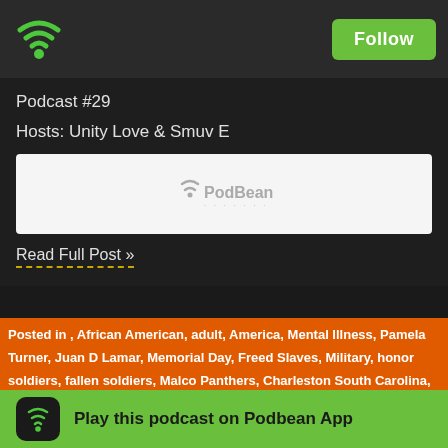Follow
Podcast #29
Hosts: Unity Love & Smuv E
[Figure (logo): PodBean audio player embed box with PodBean logo]
Read Full Post »
Posted in , African American, adult, America, Mental Illness, Pamela Turner, Juan D Lamar, Memorial Day, Freed Slaves, Military, honor soldiers, fallen soldiers, Malcolm Panthers, Charleston South Carolina, shooting, Mass Incarceration on May 26th, 2...
The Assassination of Pamela Turner- Police Brutality
Podcast #25
Play this podcast on Podbean App